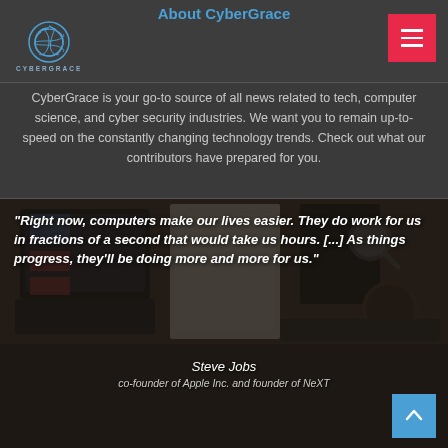About CyberGrace
[Figure (logo): CyberGrace logo: circular mesh/globe icon in blue above the text CYBERGRACE]
CyberGrace is your go-to source of all news related to tech, computer science, and cyber security industries. We want you to remain up-to-speed on the constantly changing technology trends. Check out what our contributors have prepared for you.
[Figure (photo): Background photo of a desk with a laptop, notebook, sticky notes, and a coffee cup, overlaid with dark tint]
"Right now, computers make our lives easier. They do work for us in fractions of a second that would take us hours. [...] As things progress, they'll be doing more and more for us."
Steve Jobs
co-founder of Apple Inc. and founder of NeXT